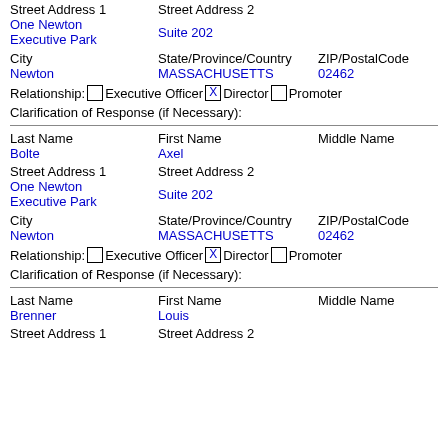Street Address 1   Street Address 2
One Newton Executive Park   Suite 202
City   State/Province/Country   ZIP/PostalCode
Newton   MASSACHUSETTS   02462
Relationship: [ ] Executive Officer [X] Director [ ] Promoter
Clarification of Response (if Necessary):
Last Name   First Name   Middle Name
Bolte   Axel
Street Address 1   Street Address 2
One Newton Executive Park   Suite 202
City   State/Province/Country   ZIP/PostalCode
Newton   MASSACHUSETTS   02462
Relationship: [ ] Executive Officer [X] Director [ ] Promoter
Clarification of Response (if Necessary):
Last Name   First Name   Middle Name
Brenner   Louis
Street Address 1   Street Address 2